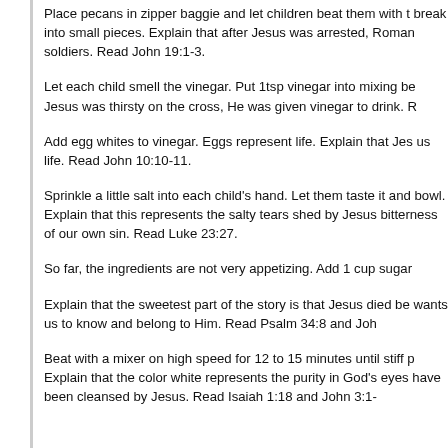Place pecans in zipper baggie and let children beat them with t break into small pieces. Explain that after Jesus was arrested, Roman soldiers. Read John 19:1-3.
Let each child smell the vinegar. Put 1tsp vinegar into mixing be Jesus was thirsty on the cross, He was given vinegar to drink.
Add egg whites to vinegar. Eggs represent life. Explain that Jes us life. Read John 10:10-11.
Sprinkle a little salt into each child's hand. Let them taste it and bowl. Explain that this represents the salty tears shed by Jesus bitterness of our own sin. Read Luke 23:27.
So far, the ingredients are not very appetizing. Add 1 cup sugar
Explain that the sweetest part of the story is that Jesus died be wants us to know and belong to Him. Read Psalm 34:8 and Joh
Beat with a mixer on high speed for 12 to 15 minutes until stiff p Explain that the color white represents the purity in God's eyes have been cleansed by Jesus. Read Isaiah 1:18 and John 3:1-